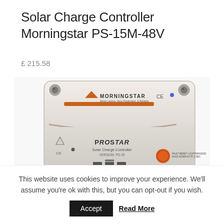Solar Charge Controller Morningstar PS-15M-48V
£ 215.58
[Figure (photo): Photo of a Morningstar ProStar Solar Charge Controller device, model PS-15M-48V, showing the front panel with MORNINGSTAR and CE markings, orange accent stripe, ProStar Solar Charge Controller label, VERSION: PS-15 text, and various indicator elements.]
This website uses cookies to improve your experience. We'll assume you're ok with this, but you can opt-out if you wish.
Accept
Read More